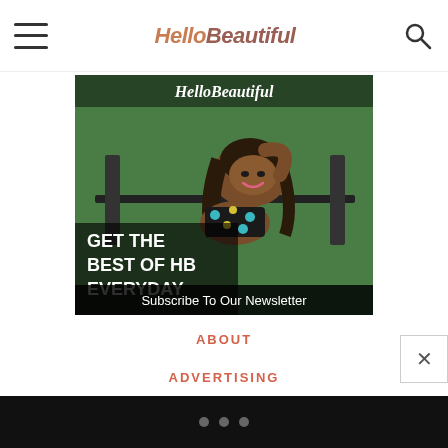HelloBeautiful
[Figure (illustration): HelloBeautiful newsletter subscription promo image. A woman in a black polka-dot bikini lies on a lounge chair. Text overlay reads GET THE BEST OF HB EVERYDAY with Subscribe To Our Newsletter below.]
ABOUT
ADVERTISING